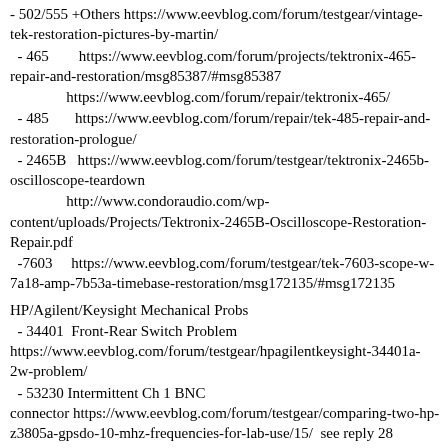- 502/555 +Others https://www.eevblog.com/forum/testgear/vintage-tek-restoration-pictures-by-martin/
- 465        https://www.eevblog.com/forum/projects/tektronix-465-repair-and-restoration/msg85387/#msg85387
https://www.eevblog.com/forum/repair/tektronix-465/
- 485        https://www.eevblog.com/forum/repair/tek-485-repair-and-restoration-prologue/
- 2465B   https://www.eevblog.com/forum/testgear/tektronix-2465b-oscilloscope-teardown
http://www.condoraudio.com/wp-content/uploads/Projects/Tektronix-2465B-Oscilloscope-Restoration-Repair.pdf
-7603      https://www.eevblog.com/forum/testgear/tek-7603-scope-w-7a18-amp-7b53a-timebase-restoration/msg172135/#msg172135
HP/Agilent/Keysight Mechanical Probs
- 34401  Front-Rear Switch Problem https://www.eevblog.com/forum/testgear/hpagilentkeysight-34401a-2w-problem/
- 53230 Intermittent Ch 1 BNC connector https://www.eevblog.com/forum/testgear/comparing-two-hp-z3805a-gpsdo-10-mhz-frequencies-for-lab-use/15/  see reply 28
- 1980s "clacky" Button Problem